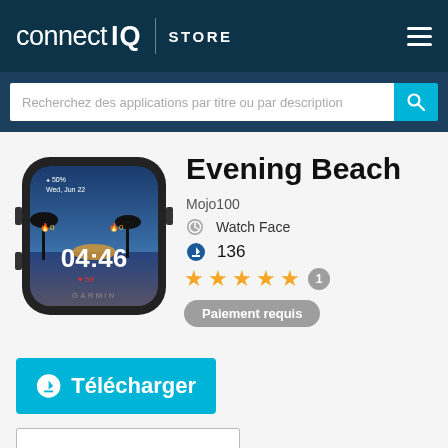connect IQ STORE
Recherchez des applications par titre ou par description
[Figure (screenshot): Garmin smartwatch displaying Evening Beach watch face showing a beach sunset scene with time 04:46]
Evening Beach
Mojo100
Watch Face
136
★★★★★ 1
Paiement requis
Télécharger